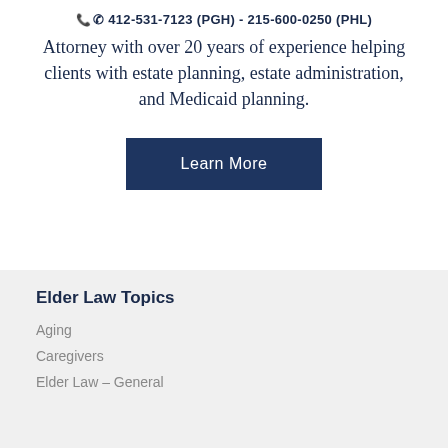412-531-7123 (PGH) - 215-600-0250 (PHL)
Attorney with over 20 years of experience helping clients with estate planning, estate administration, and Medicaid planning.
Learn More
Elder Law Topics
Aging
Caregivers
Elder Law – General